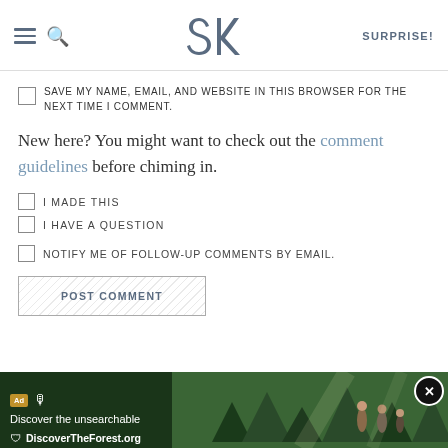SK | SURPRISE!
SAVE MY NAME, EMAIL, AND WEBSITE IN THIS BROWSER FOR THE NEXT TIME I COMMENT.
New here? You might want to check out the comment guidelines before chiming in.
I MADE THIS
I HAVE A QUESTION
NOTIFY ME OF FOLLOW-UP COMMENTS BY EMAIL.
POST COMMENT
[Figure (screenshot): Advertisement banner for DiscoverTheForest.org: 'Discover the unsearchable' with forest and people photo, close button (X)]